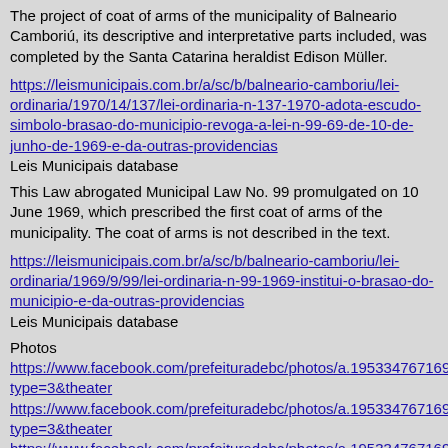The project of coat of arms of the municipality of Balneario Camboriú, its descriptive and interpretative parts included, was completed by the Santa Catarina heraldist Edison Müller.
https://leismunicipais.com.br/a/sc/b/balneario-camboriu/lei-ordinaria/1970/14/137/lei-ordinaria-n-137-1970-adota-escudo-simbolo-brasao-do-municipio-revoga-a-lei-n-99-69-de-10-de-junho-de-1969-e-da-outras-providencias
Leis Municipais database
This Law abrogated Municipal Law No. 99 promulgated on 10 June 1969, which prescribed the first coat of arms of the municipality. The coat of arms is not described in the text.
https://leismunicipais.com.br/a/sc/b/balneario-camboriu/lei-ordinaria/1969/9/99/lei-ordinaria-n-99-1969-institui-o-brasao-do-municipio-e-da-outras-providencias
Leis Municipais database
Photos
https://www.facebook.com/prefeituradebc/photos/a.195334767169666
https://www.facebook.com/prefeituradebc/photos/a.195334767169666
https://www.facebook.com/prefeituradebc/photos/a.195334767169666